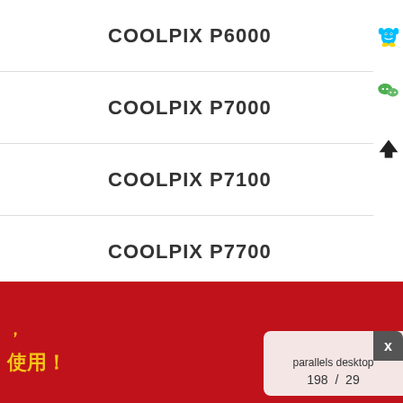COOLPIX P6000
COOLPIX P7000
COOLPIX P7100
COOLPIX P7700
COOLPIX P7800
[Figure (screenshot): Red promotional banner with Chinese text and a parallels desktop popup overlay showing '198 / 29']